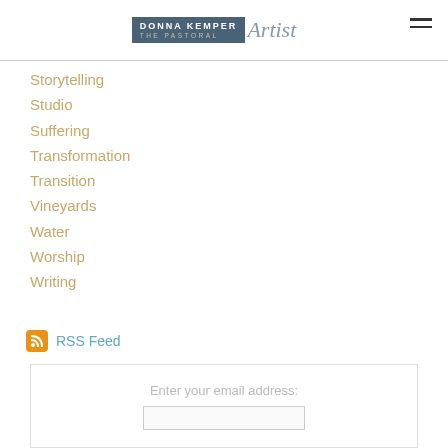Donna Kemper The Pastoral Artist
Storytelling
Studio
Suffering
Transformation
Transition
Vineyards
Water
Worship
Writing
RSS Feed
Enter your email address: